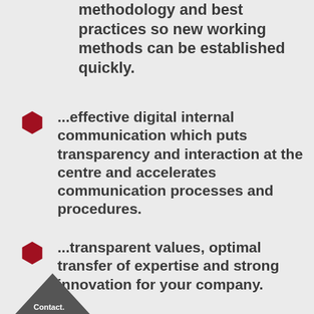methodology and best practices so new working methods can be established quickly.
...effective digital internal communication which puts transparency and interaction at the centre and accelerates communication processes and procedures.
...transparent values, optimal transfer of expertise and strong innovation for your company.
[Figure (other): Dark grey geometric diamond/chevron shape with 'Contact.' text in bold white]